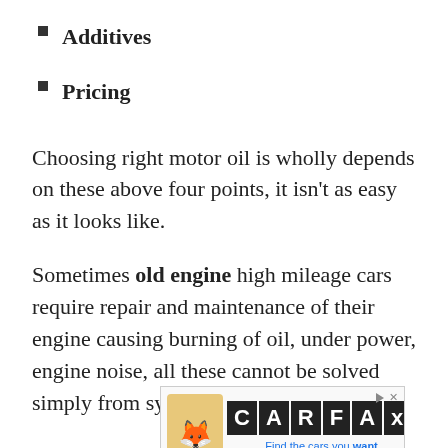Additives
Pricing
Choosing right motor oil is wholly depends on these above four points, it isn't as easy as it looks like.
Sometimes old engine high mileage cars require repair and maintenance of their engine causing burning of oil, under power, engine noise, all these cannot be solved simply from synthetic oil.
[Figure (other): CARFAX advertisement banner with fox mascot logo. Text reads: Find the cars you want, avoid the ones you don't!]